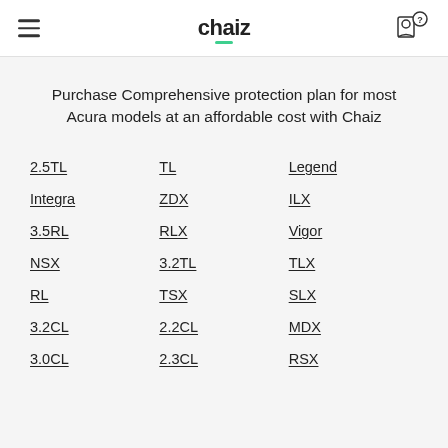chaiz
Purchase Comprehensive protection plan for most Acura models at an affordable cost with Chaiz
2.5TL
TL
Legend
Integra
ZDX
ILX
3.5RL
RLX
Vigor
NSX
3.2TL
TLX
RL
TSX
SLX
3.2CL
2.2CL
MDX
3.0CL
2.3CL
RSX